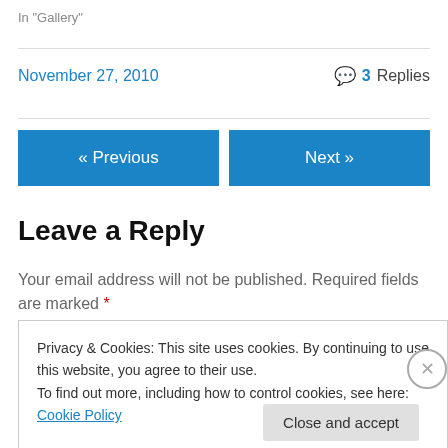In "Gallery"
November 27, 2010
3 Replies
« Previous
Next »
Leave a Reply
Your email address will not be published. Required fields are marked *
Privacy & Cookies: This site uses cookies. By continuing to use this website, you agree to their use.
To find out more, including how to control cookies, see here: Cookie Policy
Close and accept